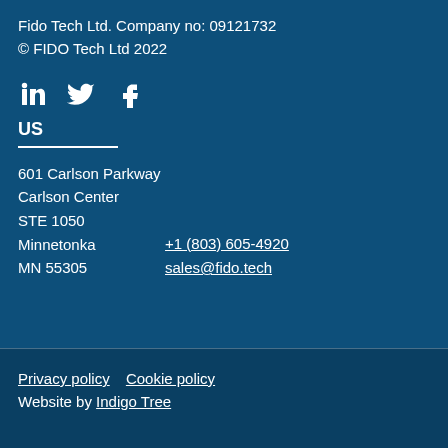Fido Tech Ltd. Company no: 09121732
© FIDO Tech Ltd 2022
[Figure (other): Social media icons: LinkedIn, Twitter, Facebook]
US
601 Carlson Parkway
Carlson Center
STE 1050
Minnetonka
MN 55305
+1 (803) 605-4920
sales@fido.tech
Privacy policy   Cookie policy
Website by Indigo Tree